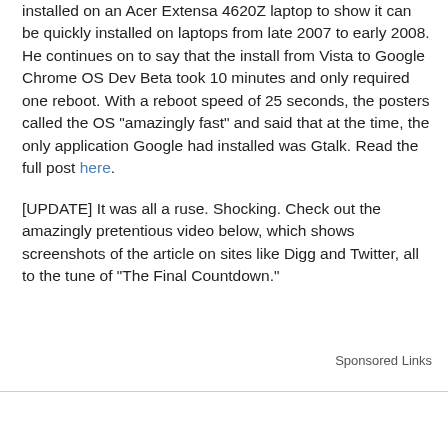installed on an Acer Extensa 4620Z laptop to show it can be quickly installed on laptops from late 2007 to early 2008. He continues on to say that the install from Vista to Google Chrome OS Dev Beta took 10 minutes and only required one reboot. With a reboot speed of 25 seconds, the posters called the OS "amazingly fast" and said that at the time, the only application Google had installed was Gtalk. Read the full post here.
[UPDATE] It was all a ruse. Shocking. Check out the amazingly pretentious video below, which shows screenshots of the article on sites like Digg and Twitter, all to the tune of "The Final Countdown."
Sponsored Links